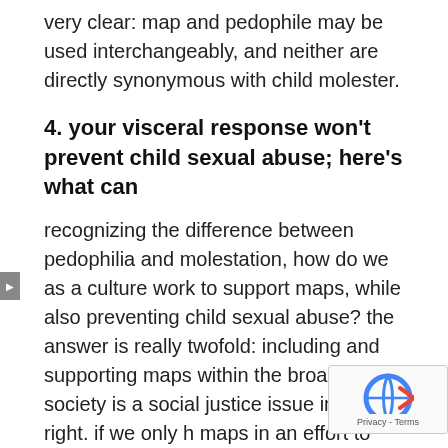very clear: map and pedophile may be used interchangeably, and neither are directly synonymous with child molester.
4. your visceral response won't prevent child sexual abuse; here's what can
recognizing the difference between pedophilia and molestation, how do we as a culture work to support maps, while also preventing child sexual abuse? the answer is really twofold: including and supporting maps within the broader society is a social justice issue in its own right. if we only h maps in an effort to prevent csa, it fails t